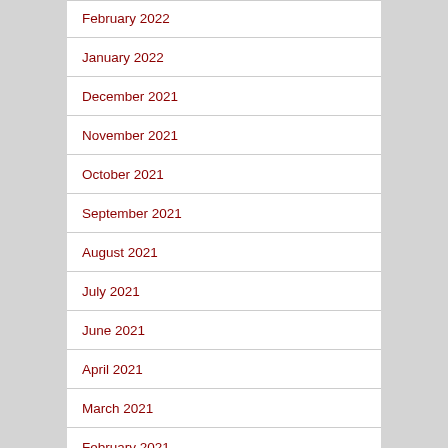February 2022
January 2022
December 2021
November 2021
October 2021
September 2021
August 2021
July 2021
June 2021
April 2021
March 2021
February 2021